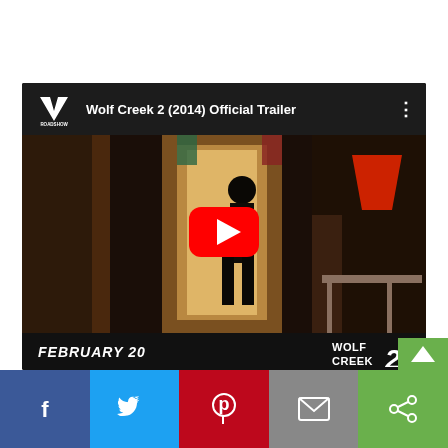[Figure (screenshot): YouTube embedded video player showing Wolf Creek 2 (2014) Official Trailer. Header shows Roadshow logo and video title. Video thumbnail shows a dark interior scene with a silhouetted figure standing in a doorway, red YouTube play button centered. Footer shows 'FEBRUARY 20' and 'WOLF CREEK 2' logo on black background.]
[Figure (screenshot): Social sharing bar at the bottom with five buttons: Facebook (blue, f icon), Twitter (light blue, bird icon), Pinterest (red, P icon), Email (grey, envelope icon), Share (green, share icon). A green arrow/chevron button appears at the bottom right corner.]